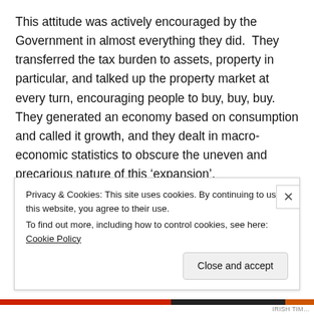This attitude was actively encouraged by the Government in almost everything they did. They transferred the tax burden to assets, property in particular, and talked up the property market at every turn, encouraging people to buy, buy, buy. They generated an economy based on consumption and called it growth, and they dealt in macro-economic statistics to obscure the uneven and precarious nature of this ‘expansion’.
As an Irish Times profile of McCreevy from 2006 suggests even the SSIA scheme he designed to “cool the economy
Privacy & Cookies: This site uses cookies. By continuing to use this website, you agree to their use.
To find out more, including how to control cookies, see here: Cookie Policy